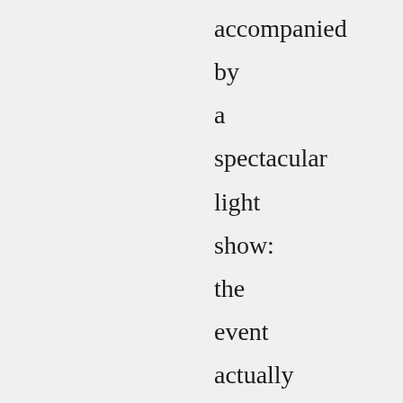accompanied by a spectacular light show: the event actually encapsulated several prophetic incidents taking place at once. In the not-so-di…